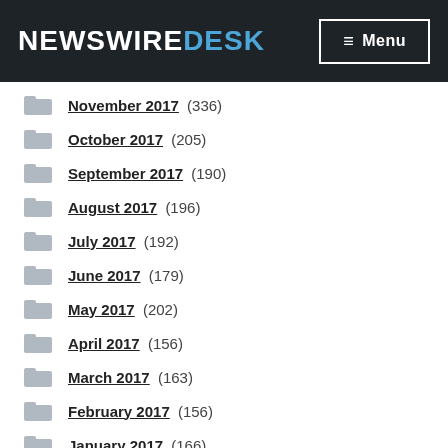NewswireDesk — Menu
November 2017 (336)
October 2017 (205)
September 2017 (190)
August 2017 (196)
July 2017 (192)
June 2017 (179)
May 2017 (202)
April 2017 (156)
March 2017 (163)
February 2017 (156)
January 2017 (166)